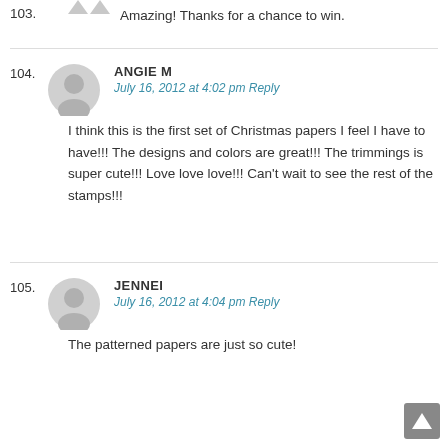Amazing! Thanks for a chance to win.
103.
104. ANGIE M — July 16, 2012 at 4:02 pm Reply — I think this is the first set of Christmas papers I feel I have to have!!! The designs and colors are great!!! The trimmings is super cute!!! Love love love!!! Can't wait to see the rest of the stamps!!!
105. JENNEI — July 16, 2012 at 4:04 pm Reply — The patterned papers are just so cute!